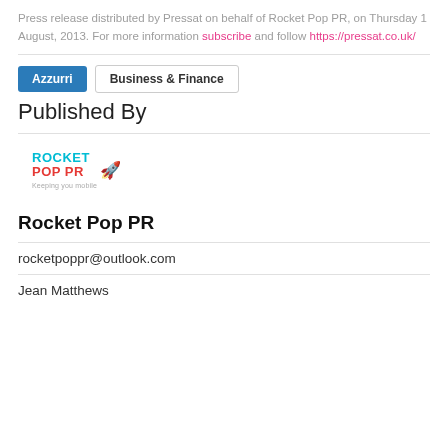Press release distributed by Pressat on behalf of Rocket Pop PR, on Thursday 1 August, 2013. For more information subscribe and follow https://pressat.co.uk/
Azzurri  Business & Finance
Published By
[Figure (logo): Rocket Pop PR logo with cyan, red and blue text and a rocket icon. Tagline: Keeping you mobile]
Rocket Pop PR
rocketpoppr@outlook.com
Jean Matthews